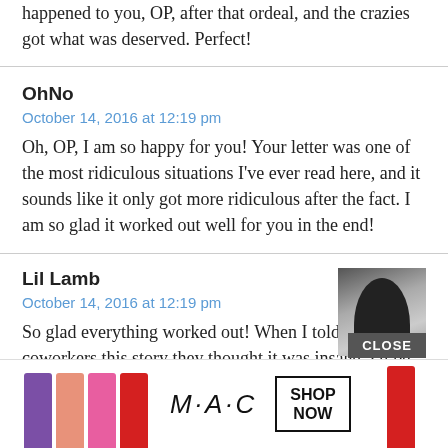happened to you, OP, after that ordeal, and the crazies got what was deserved. Perfect!
OhNo
October 14, 2016 at 12:19 pm
Oh, OP, I am so happy for you! Your letter was one of the most ridiculous situations I’ve ever read here, and it sounds like it only got more ridiculous after the fact. I am so glad it worked out well for you in the end!
Lil Lamb
October 14, 2016 at 12:19 pm
So glad everything worked out! When I told my coworkers this story they thought it was insane. I’ll be happy to give them an update.
[Figure (other): MAC cosmetics advertisement banner showing colorful lipsticks, MAC logo, and SHOP NOW button]
CLOSE